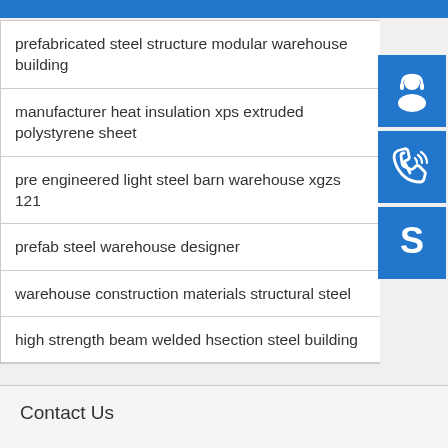prefabricated steel structure modular warehouse building
manufacturer heat insulation xps extruded polystyrene sheet
pre engineered light steel barn warehouse xgzs 121
prefab steel warehouse designer
warehouse construction materials structural steel
high strength beam welded hsection steel building
Contact Us